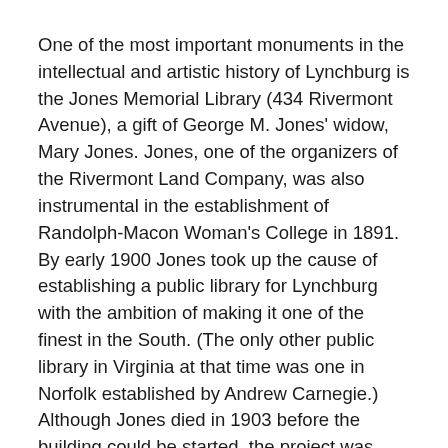One of the most important monuments in the intellectual and artistic history of Lynchburg is the Jones Memorial Library (434 Rivermont Avenue), a gift of George M. Jones' widow, Mary Jones. Jones, one of the organizers of the Rivermont Land Company, was also instrumental in the establishment of Randolph-Macon Woman's College in 1891. By early 1900 Jones took up the cause of establishing a public library for Lynchburg with the ambition of making it one of the finest in the South. (The only other public library in Virginia at that time was one in Norfolk established by Andrew Carnegie.) Although Jones died in 1903 before the building could be started, the project was continued by his widow Mary who commissioned the local architectural firm of Frye and Chesterman to design the memorial library.
On a much smaller scale was the Piedmont Business